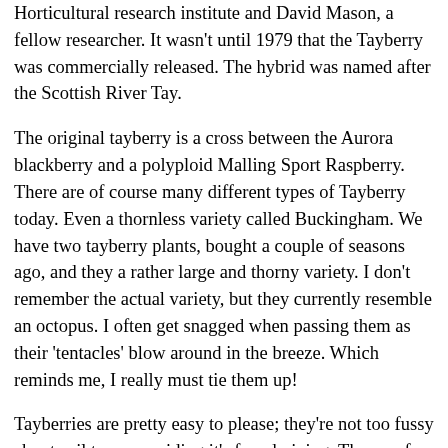Horticultural research institute and David Mason, a fellow researcher. It wasn't until 1979 that the Tayberry was commercially released. The hybrid was named after the Scottish River Tay.
The original tayberry is a cross between the Aurora blackberry and a polyploid Malling Sport Raspberry. There are of course many different types of Tayberry today. Even a thornless variety called Buckingham. We have two tayberry plants, bought a couple of seasons ago, and they a rather large and thorny variety. I don't remember the actual variety, but they currently resemble an octopus. I often get snagged when passing them as their 'tentacles' blow around in the breeze. Which reminds me, I really must tie them up!
Tayberries are pretty easy to please; they're not too fussy about soil type, providing it's free draining. They prefer to be in full sun but will tolerate partial shade. Tayberries grow fairly large, so if space is an